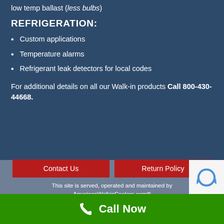low temp ballast (less bulbs)
REFRIGERATION:
Custom applications
Temperature alarms
Refrigerant leak detectors for local codes
For additional details on all our Walk-in products Call 800-430-44668.
Contact Us
Return Policy
This site is served, operated and maintained by AmericanWalkinCoolers.com® All rights reserved. Copyright ©2020
Call Now